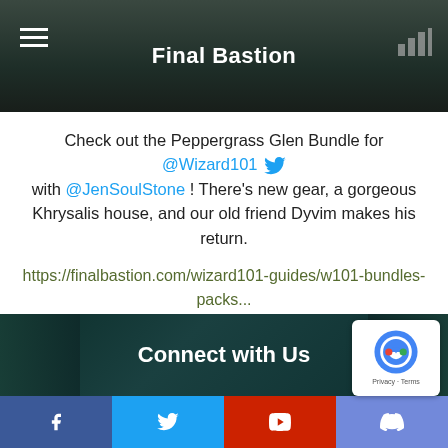Final Bastion
Check out the Peppergrass Glen Bundle for @Wizard101 with @JenSoulStone ! There's new gear, a gorgeous Khrysalis house, and our old friend Dyvim makes his return.
https://finalbastion.com/wizard101-guides/w101-bundles-packs...
3  9  Twitter
Load More...
Connect with Us